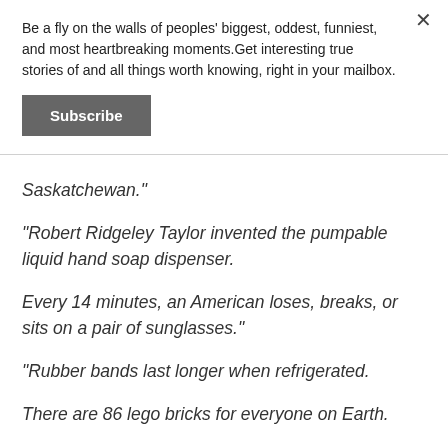Be a fly on the walls of peoples' biggest, oddest, funniest, and most heartbreaking moments.Get interesting true stories of and all things worth knowing, right in your mailbox.
Subscribe
Saskatchewan."
"Robert Ridgeley Taylor invented the pumpable liquid hand soap dispenser.
Every 14 minutes, an American loses, breaks, or sits on a pair of sunglasses."
"Rubber bands last longer when refrigerated.
There are 86 lego bricks for everyone on Earth.